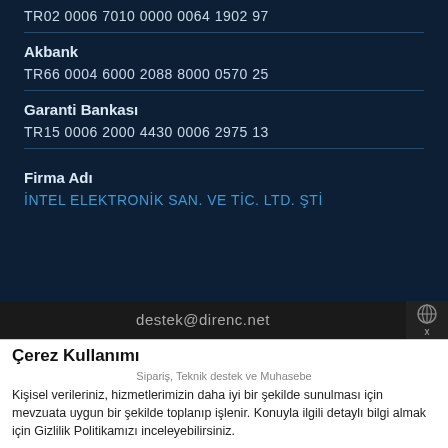TR02 0006 7010 0000 0064 1902 97
Akbank
TR66 0004 6000 2088 8000 0570 25
Garanti Bankası
TR15 0006 2000 4430 0006 2975 13
Firma Adı
İNTEL ELEKTRONİK SAN. VE TİC. LTD. ŞTİ
destek@direnc.net
Çerez Kullanımı
Sipariş, Teknik destek ve Muhasebe
Kişisel verileriniz, hizmetlerimizin daha iyi bir şekilde sunulması için mevzuata uygun bir şekilde toplanıp işlenir. Konuyla ilgili detaylı bilgi almak için Gizlilik Politikamızı inceleyebilirsiniz.